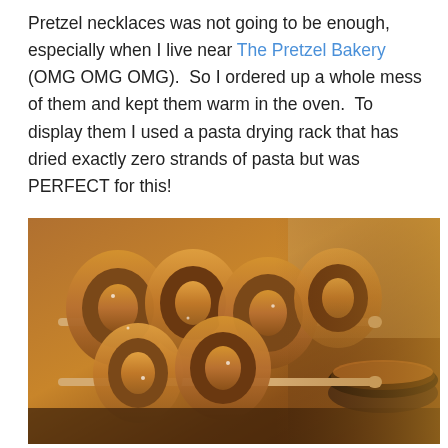Pretzel necklaces was not going to be enough, especially when I live near The Pretzel Bakery (OMG OMG OMG).  So I ordered up a whole mess of them and kept them warm in the oven.  To display them I used a pasta drying rack that has dried exactly zero strands of pasta but was PERFECT for this!
[Figure (photo): Close-up photograph of soft pretzels hung on a wooden pasta drying rack, displayed in warm amber/brown tones. A bowl of snacks is visible in the background to the right.]